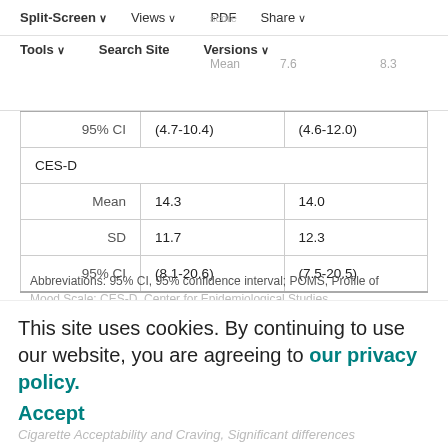|  | Column 1 | Column 2 |
| --- | --- | --- |
| 95% CI | (4.7-10.4) | (4.6-12.0) |
| CES-D |  |  |
| Mean | 14.3 | 14.0 |
| SD | 11.7 | 12.3 |
| 95% CI | (8.1-20.6) | (7.5-20.5) |
Abbreviations: 95% CI, 95% confidence interval; POMS, Profile of Mood Scale; CES-D, Center for Epidemiological Studies
This site uses cookies. By continuing to use our website, you are agreeing to our privacy policy. Accept